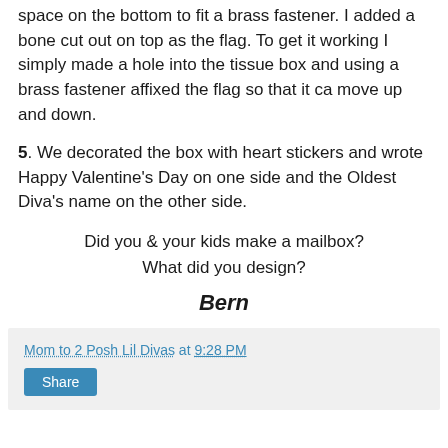space on the bottom to fit a brass fastener. I added a bone cut out on top as the flag. To get it working I simply made a hole into the tissue box and using a brass fastener affixed the flag so that it ca move up and down.
5. We decorated the box with heart stickers and wrote Happy Valentine's Day on one side and the Oldest Diva's name on the other side.
Did you & your kids make a mailbox?
What did you design?
Bern
Mom to 2 Posh Lil Divas at 9:28 PM
Share